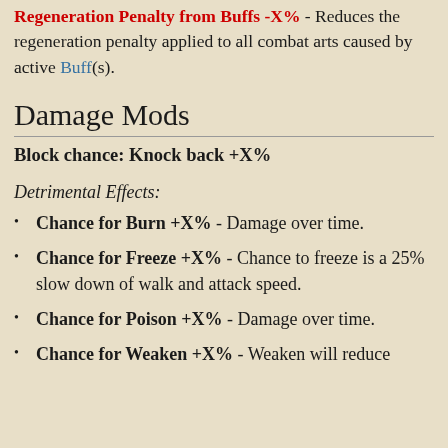Regeneration Penalty from Buffs -X% - Reduces the regeneration penalty applied to all combat arts caused by active Buff(s).
Damage Mods
Block chance: Knock back +X%
Detrimental Effects:
Chance for Burn +X% - Damage over time.
Chance for Freeze +X% - Chance to freeze is a 25% slow down of walk and attack speed.
Chance for Poison +X% - Damage over time.
Chance for Weaken +X% - Weaken will reduce